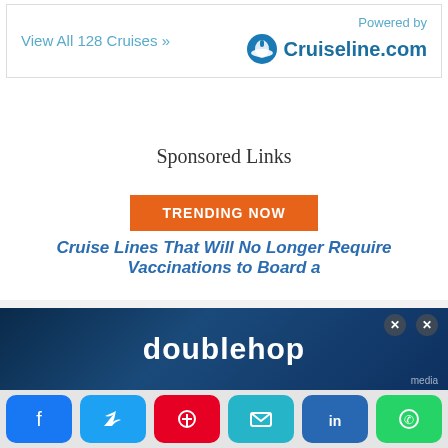View All 128 Cruises »
[Figure (logo): Cruiseline.com logo with ship icon]
Sponsored Links
[Figure (infographic): TRENDING NOW orange button]
Cruise Lines That Will No Longer Require Vaccinations to Board a
Ben Souza
Ben is a world traveler who has visited 42
[Figure (screenshot): doublehop advertisement banner with dark blue background]
[Figure (infographic): Social sharing buttons: Facebook, Twitter, Pinterest, Email, LinkedIn, WhatsApp]